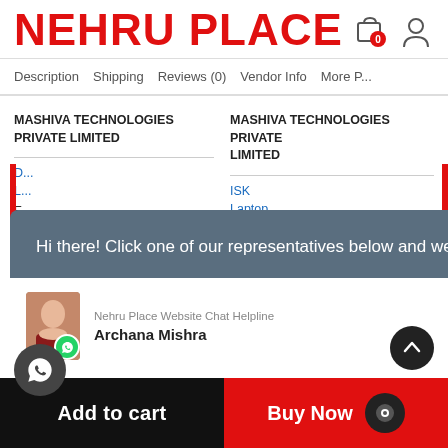NEHRU PLACE
Description | Shipping | Reviews (0) | Vendor Info | More P...
MASHIVA TECHNOLOGIES PRIVATE LIMITED
MASHIVA TECHNOLOGIES PRIVATE LIMITED
[Figure (screenshot): Popup chat widget with message: Hi there! Click one of our representatives below and we will get back to you as soon as possible. Agent: Archana Mishra, Nehru Place Website Chat Helpline]
Add to cart
Buy Now